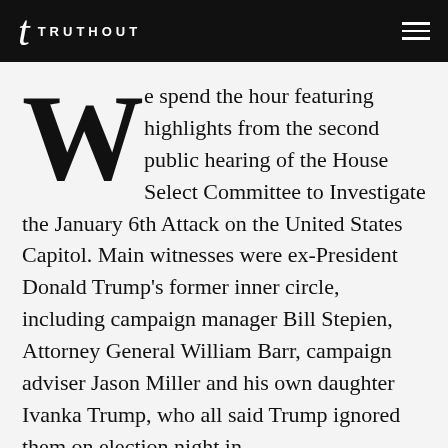TRUTHOUT
We spend the hour featuring highlights from the second public hearing of the House Select Committee to Investigate the January 6th Attack on the United States Capitol. Main witnesses were ex-President Donald Trump's former inner circle, including campaign manager Bill Stepien, Attorney General William Barr, campaign adviser Jason Miller and his own daughter Ivanka Trump, who all said Trump ignored them on election night in